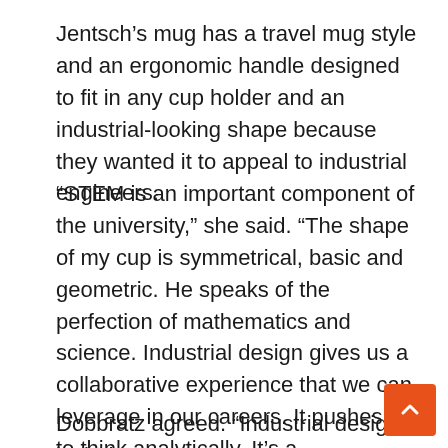Jentsch's mug has a travel mug style and an ergonomic handle designed to fit in any cup holder and an industrial-looking shape because they wanted it to appeal to industrial engineers.
“STEM is an important component of the university,” she said. “The shape of my cup is symmetrical, basic and geometric. He speaks of the perfection of mathematics and science. Industrial design gives us a collaborative experience that we can leverage in our careers. It pushes us to think analytically. It’s a combination of math, graphics, packaging and marketing.
Dobbratz agreed. “Industrial design includes an